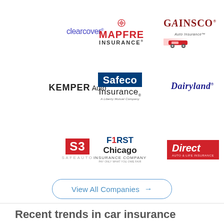[Figure (logo): Clearcover logo — blue text]
[Figure (logo): MAPFRE Insurance logo — red text with target icon]
[Figure (logo): GAINSCO Auto Insurance logo with red car]
[Figure (logo): KEMPER Auto logo — black bold text]
[Figure (logo): Safeco Insurance — A Liberty Mutual Company logo with dark blue badge]
[Figure (logo): Dairyland logo — dark blue italic serif text]
[Figure (logo): SafeAuto logo — red S3 emblem]
[Figure (logo): First Chicago Insurance Company logo]
[Figure (logo): Direct Auto and Life Insurance logo — red background]
View All Companies →
Recent trends in car insurance for Conway drivers